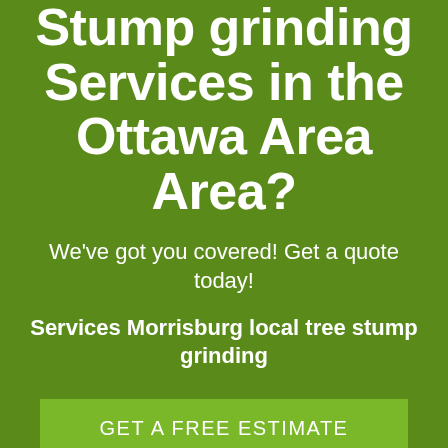Stump grinding Services in the Ottawa Area Area?
We've got you covered! Get a quote today!
Services Morrisburg local tree stump grinding
GET A FREE ESTIMATE